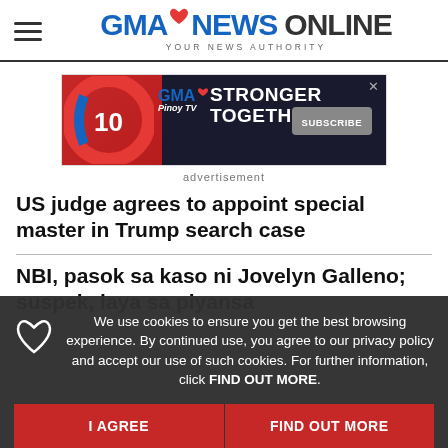GMA NEWS ONLINE — YOUR NEWS AUTHORITY
[Figure (advertisement): GMA Pinoy TV advertisement banner — GMA Stronger Together, Subscribe button]
advertisement
US judge agrees to appoint special master in Trump search case
NBI, pasok sa kaso ni Jovelyn Galleno; suspek, laya sa piyansa
We use cookies to ensure you get the best browsing experience. By continued use, you agree to our privacy policy and accept our use of such cookies. For further information, click FIND OUT MORE.
I AGREE
FIND OUT MORE